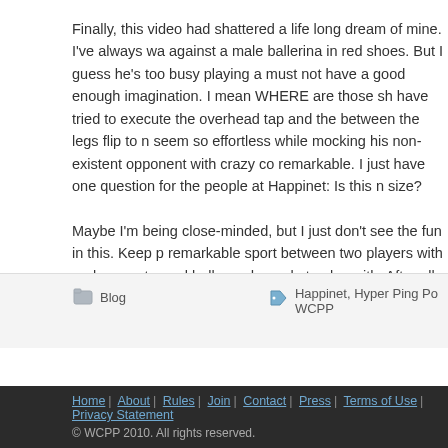Finally, this video had shattered a life long dream of mine. I've always wa... against a male ballerina in red shoes. But I guess he's too busy playing a... must not have a good enough imagination. I mean WHERE are those sh... have tried to execute the overhead tap and the between the legs flip to n... seem so effortless while mocking his non-existent opponent with crazy co... remarkable. I just have one question for the people at Happinet: Is this n... size?
Maybe I'm being close-minded, but I just don't see the fun in this. Keep p... remarkable sport between two players with real racquets, real balls, and ... people to play with. After all, it is the second highest participatory sport in...
Blog
Happinet, Hyper Ping Po... WCPP
Home | About | Rules | Join | Contact | Press | Terms of Use | Privacy Statement © WCPP 2010. All rights reserved.